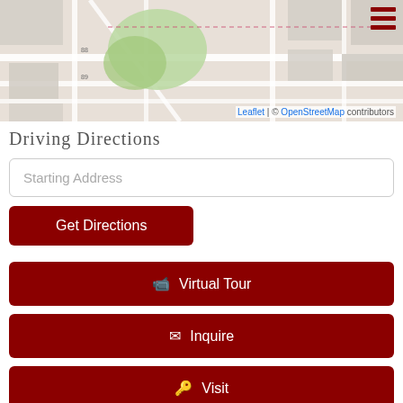[Figure (map): Street map showing a neighborhood with green park area, roads, and buildings. Leaflet / OpenStreetMap attribution in bottom right.]
Driving Directions
Starting Address
Get Directions
🎥 Virtual Tour
✉ Inquire
🔑 Visit
802-242-5139
Listed by Michelle Gosselin of Heney Realtors - Element Real Estate (Barro)